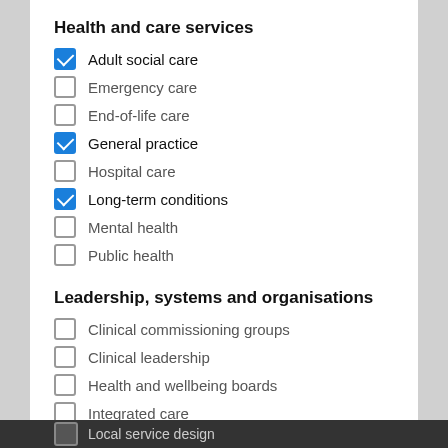Health and care services
Adult social care (checked)
Emergency care (unchecked)
End-of-life care (unchecked)
General practice (checked)
Hospital care (unchecked)
Long-term conditions (checked)
Mental health (unchecked)
Public health (unchecked)
Leadership, systems and organisations
Clinical commissioning groups (unchecked)
Clinical leadership (unchecked)
Health and wellbeing boards (unchecked)
Integrated care (unchecked)
Local service design (unchecked, partially visible)